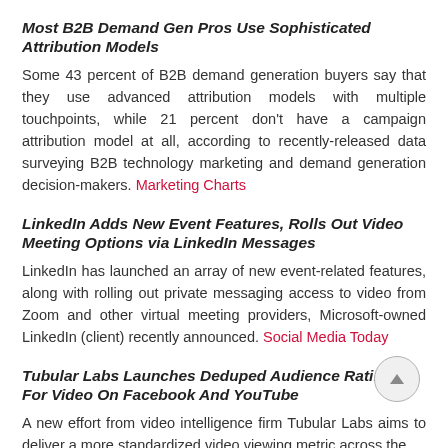Most B2B Demand Gen Pros Use Sophisticated Attribution Models
Some 43 percent of B2B demand generation buyers say that they use advanced attribution models with multiple touchpoints, while 21 percent don't have a campaign attribution model at all, according to recently-released data surveying B2B technology marketing and demand generation decision-makers. Marketing Charts
LinkedIn Adds New Event Features, Rolls Out Video Meeting Options via LinkedIn Messages
LinkedIn has launched an array of new event-related features, along with rolling out private messaging access to video from Zoom and other virtual meeting providers, Microsoft-owned LinkedIn (client) recently announced. Social Media Today
Tubular Labs Launches Deduped Audience Ratings For Video On Facebook And YouTube
A new effort from video intelligence firm Tubular Labs aims to deliver a more standardized video viewing metric across the